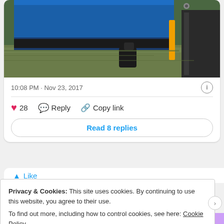[Figure (photo): Photo of a boat/vessel hull docked near water, showing blue paint, black bumpers, and yellow/orange trim detail, with murky water visible in the background.]
10:08 PM · Nov 23, 2017
♥ 28   Reply   Copy link
Read 8 replies
Privacy & Cookies: This site uses cookies. By continuing to use this website, you agree to their use.
To find out more, including how to control cookies, see here: Cookie Policy
Close and accept